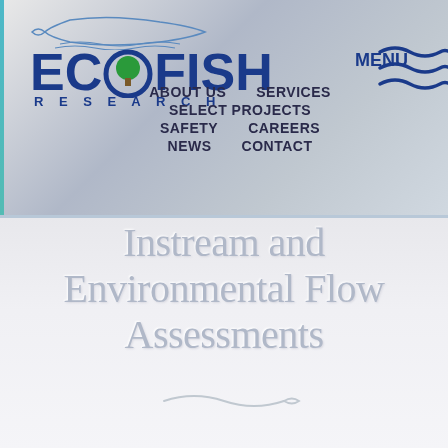[Figure (logo): EcoFish Research logo with fish silhouette, tree icon in the O, and wavy water lines]
ABOUT US    SERVICES    MENU
SELECT PROJECTS
SAFETY    CAREERS
NEWS    CONTACT
Instream and Environmental Flow Assessments